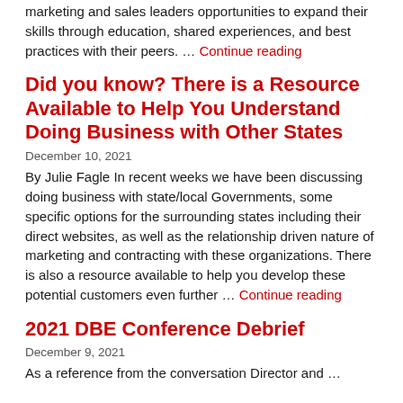marketing and sales leaders opportunities to expand their skills through education, shared experiences, and best practices with their peers. … Continue reading
Did you know? There is a Resource Available to Help You Understand Doing Business with Other States
December 10, 2021
By Julie Fagle In recent weeks we have been discussing doing business with state/local Governments, some specific options for the surrounding states including their direct websites, as well as the relationship driven nature of marketing and contracting with these organizations.  There is also a resource available to help you develop these potential customers even further … Continue reading
2021 DBE Conference Debrief
December 9, 2021
As a reference from the conversation Director and …